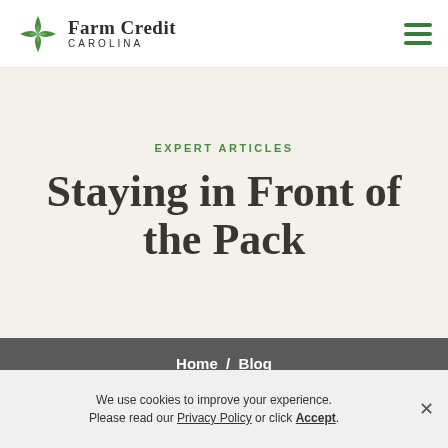[Figure (logo): Farm Credit Carolina logo with green four-pointed star/flower emblem and text 'Farm Credit Carolina']
EXPERT ARTICLES
Staying in Front of the Pack
Home / Blog
Return to All Articles
We use cookies to improve your experience. Please read our Privacy Policy or click Accept.